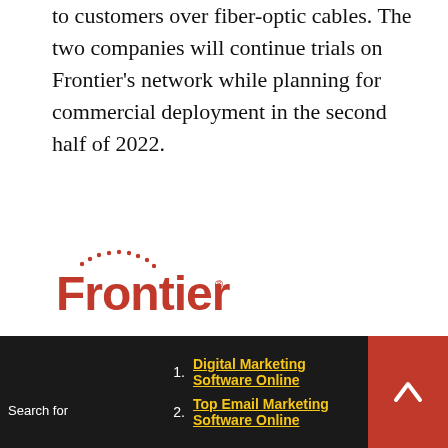to customers over fiber-optic cables. The two companies will continue trials on Frontier's network while planning for commercial deployment in the second half of 2022.
[Figure (logo): Frontier Communications logo — bold red 'Frontier' wordmark with a red dotted arc above the first letter]
Consumer and business customers need increased bandwidth to advance beyond basic applications and amplify their use of the Internet of Things, artificial intelligence, machine learning, and big data analytics.
Search for  1. Digital Marketing Software Online  2. Top Email Marketing Software Online